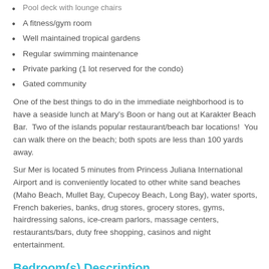Pool deck with lounge chairs
A fitness/gym room
Well maintained tropical gardens
Regular swimming maintenance
Private parking (1 lot reserved for the condo)
Gated community
One of the best things to do in the immediate neighborhood is to have a seaside lunch at Mary's Boon or hang out at Karakter Beach Bar.  Two of the islands popular restaurant/beach bar locations!  You can walk there on the beach; both spots are less than 100 yards away.
Sur Mer is located 5 minutes from Princess Juliana International Airport and is conveniently located to other white sand beaches (Maho Beach, Mullet Bay, Cupecoy Beach, Long Bay), water sports, French bakeries, banks, drug stores, grocery stores, gyms, hairdressing salons, ice-cream parlors, massage centers, restaurants/bars, duty free shopping, casinos and night entertainment.
Bedroom(s) Description
All three bedrooms have king size beds and en-suite private bathrooms with showers.